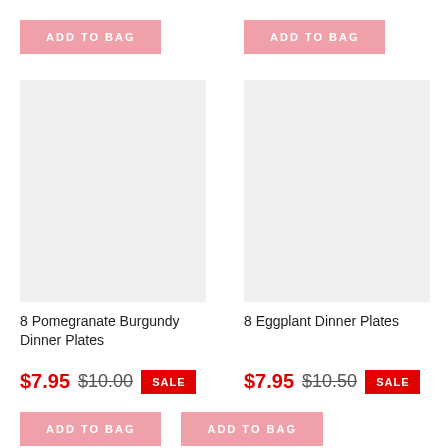ADD TO BAG
ADD TO BAG
[Figure (photo): Product image placeholder for 8 Pomegranate Burgundy Dinner Plates]
[Figure (photo): Product image placeholder for 8 Eggplant Dinner Plates]
8 Pomegranate Burgundy Dinner Plates
8 Eggplant Dinner Plates
$7.95  $10.00  SALE
$7.95  $10.50  SALE
ADD TO BAG
ADD TO BAG